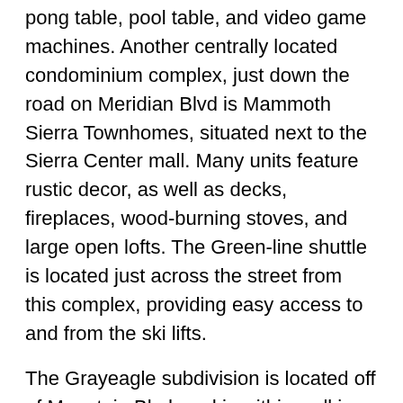pong table, pool table, and video game machines. Another centrally located condominium complex, just down the road on Meridian Blvd is Mammoth Sierra Townhomes, situated next to the Sierra Center mall. Many units feature rustic decor, as well as decks, fireplaces, wood-burning stoves, and large open lofts. The Green-line shuttle is located just across the street from this complex, providing easy access to and from the ski lifts.
The Grayeagle subdivision is located off of Mountain Blvd, and is within walking distance to the town's trolley, the Mammoth Outlet Center, and Johns Pizza. The neighborhood's construction was completed during 2005, and features spacious townhomes, many with over-sized garages. Across main street in the Sierra Valley sites subdivision is the Wildflower condos. Situated on Arrowhead Drive, they are within walking distance to many